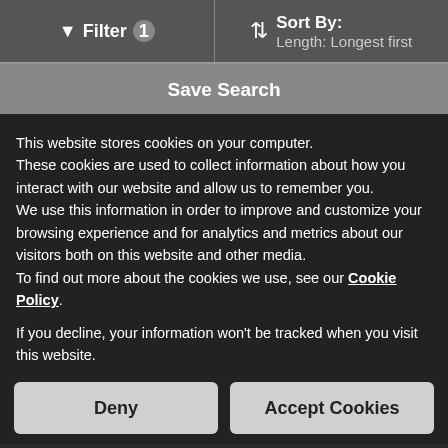[Figure (screenshot): Top filter and sort bar of a boat listings website. Left side shows filter button with badge '1', right side shows Sort By: Length: Longest first.]
Save Search
4 listings ✕
Email me new listings for this search, as well as other boats of interest.
By subscribing, you agree to our Terms of Use
Privacy Policy
About Us
AdChoices ▶
This website stores cookies on your computer. These cookies are used to collect information about how you interact with our website and allow us to remember you. We use this information in order to improve and customize your browsing experience and for analytics and metrics about our visitors both on this website and other media. To find out more about the cookies we use, see our Cookie Policy.
If you decline, your information won't be tracked when you visit this website. A single cookie will be used in your browser to remember your preference not to be tracked.
Deny
Accept Cookies